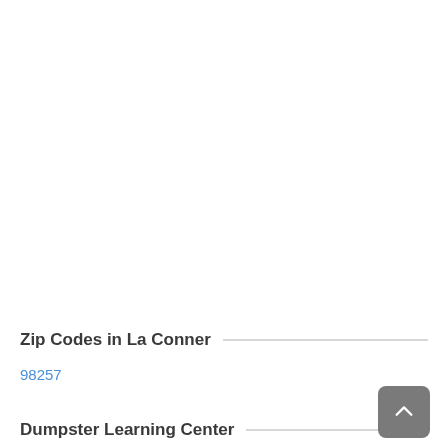Zip Codes in La Conner
98257
Dumpster Learning Center